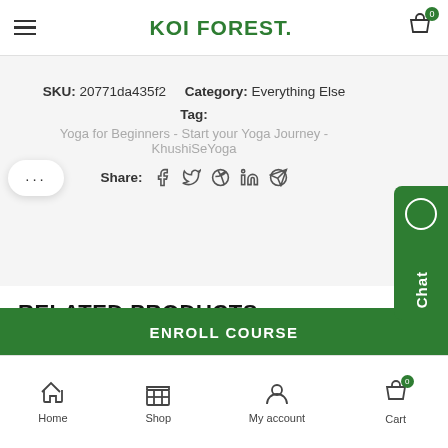KOI FOREST.
SKU: 20771da435f2   Category: Everything Else
Tag:
Yoga for Beginners - Start your Yoga Journey - KhushiSeYoga
Share:
RELATED PRODUCTS
[Figure (screenshot): Two product cards: 'WordPress DIY Weddings and Special Events' with -68% badge, and 'The Science of Integrative Medicine' with -65% badge]
ENROLL COURSE
Home   Shop   My account   Cart